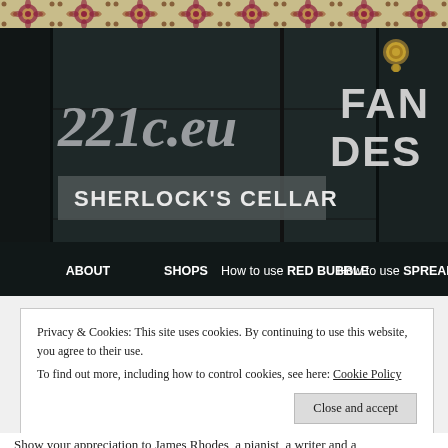[Figure (screenshot): Decorative floral/paisley pattern border strip at top of page in beige and dark red/maroon colors]
[Figure (photo): Dark wooden door background with '221c.eu SHERLOCK'S CELLAR' website header logo. Shows site name in italic script, 'SHERLOCK'S CELLAR' in a grey banner, partial text 'FAN' and 'DES' on right, gold door knocker visible top right, navigation bar below with ABOUT, SHOPS, How to use RED BUBBLE, How to use SPREADSHIRT links]
Privacy & Cookies: This site uses cookies. By continuing to use this website, you agree to their use.
To find out more, including how to control cookies, see here: Cookie Policy
Close and accept
Show your appreciation to James Rhodes, a pianist, a writer and a